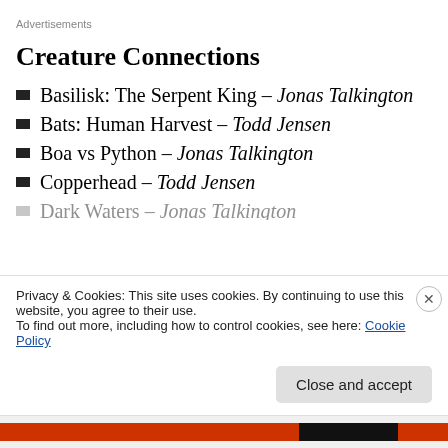Advertisements
Creature Connections
Basilisk: The Serpent King – Jonas Talkington
Bats: Human Harvest – Todd Jensen
Boa vs Python – Jonas Talkington
Copperhead – Todd Jensen
Dark Waters – Jonas Talkington
Privacy & Cookies: This site uses cookies. By continuing to use this website, you agree to their use.
To find out more, including how to control cookies, see here: Cookie Policy
Close and accept